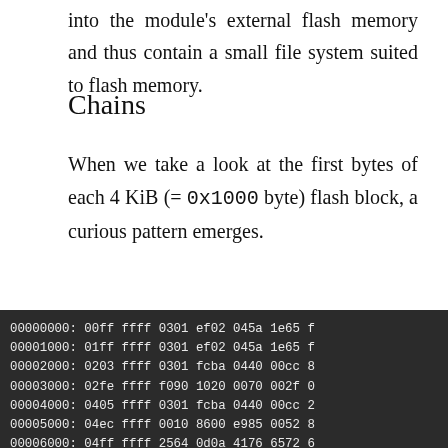into the module's external flash memory and thus contain a small file system suited to flash memory.
Chains
When we take a look at the first bytes of each 4 KiB (= 0x1000 byte) flash block, a curious pattern emerges.
[Figure (screenshot): Hexdump output showing first bytes of 4 KiB flash blocks, with addresses from 00000000 to 0000b000 and corresponding hex data values, displayed as white monospace text on dark background.]